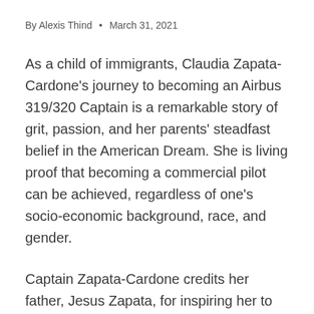By Alexis Thind • March 31, 2021
As a child of immigrants, Claudia Zapata-Cardone's journey to becoming an Airbus 319/320 Captain is a remarkable story of grit, passion, and her parents' steadfast belief in the American Dream. She is living proof that becoming a commercial pilot can be achieved, regardless of one's socio-economic background, race, and gender.
Captain Zapata-Cardone credits her father, Jesus Zapata, for inspiring her to join the aviation industry. He immigrated to Queens, New York from Zarzal, Colombia, in the early 1960s, later serving in South Korea during the Vietnam War. When he